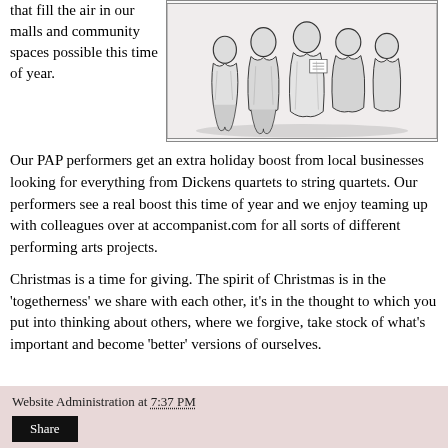that fill the air in our malls and community spaces possible this time of year.
[Figure (illustration): Black and white illustration of a group of Victorian-era carolers or performers in period clothing, standing together]
Our PAP performers get an extra holiday boost from local businesses looking for everything from Dickens quartets to string quartets. Our performers see a real boost this time of year and we enjoy teaming up with colleagues over at accompanist.com for all sorts of different performing arts projects.
Christmas is a time for giving. The spirit of Christmas is in the 'togetherness' we share with each other, it's in the thought to which you put into thinking about others, where we forgive, take stock of what's important and become 'better' versions of ourselves.
Website Administration at 7:37 PM